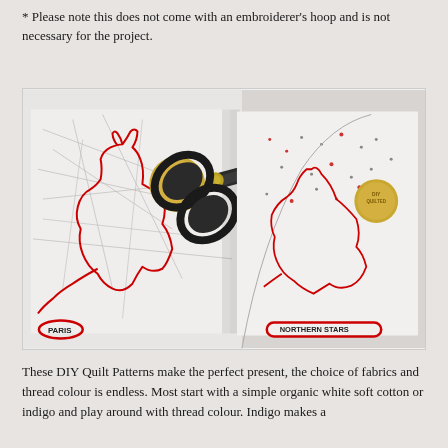* Please note this does not come with an embroiderer's hoop and is not necessary for the project.
[Figure (photo): Two side-by-side images of quilt patterns on white fabric. Left image shows a folded white fabric with a red stitched pattern (outline of a cat/animal shape) and a gold 'DIY Quilted' sticker, with the label 'PARIS' circled in red at the bottom. Right image shows a similar white fabric with red stitched star constellation pattern, a gold sticker, 'NORTHERN STARS' circled in red at the bottom, and a large pair of scissors cutting into the fabric from the top right.]
These DIY Quilt Patterns make the perfect present, the choice of fabrics and thread colour is endless. Most start with a simple organic white soft cotton or indigo and play around with thread colour. Indigo makes a